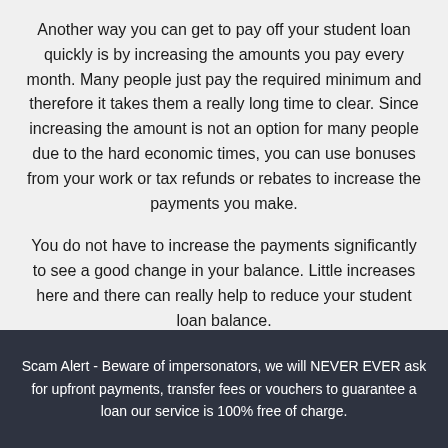Another way you can get to pay off your student loan quickly is by increasing the amounts you pay every month. Many people just pay the required minimum and therefore it takes them a really long time to clear. Since increasing the amount is not an option for many people due to the hard economic times, you can use bonuses from your work or tax refunds or rebates to increase the payments you make.
You do not have to increase the payments significantly to see a good change in your balance. Little increases here and there can really help to reduce your student loan balance.
If you have an emergency that requires cash fast
Scam Alert - Beware of impersonators, we will NEVER EVER ask for upfront payments, transfer fees or vouchers to guarantee a loan our service is 100% free of charge.